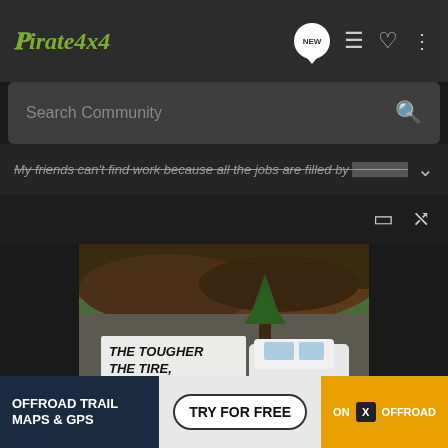Pirate4x4
Search Community
My friends can't find work because all the jobs are filled by ...
[Figure (photo): Tire advertisement showing a white Jeep off-road vehicle with text 'THE TOUGHER THE TIRE, THE EASIER THE ESCAPE.' overlaid on a wilderness scene with dirt, forest, and a campfire camping image below.]
[Figure (infographic): Bottom banner ad: 'OFFROAD TRAIL MAPS & GPS' with 'TRY FOR FREE' button and 'ON X OFFROAD' brand logo on orange background.]